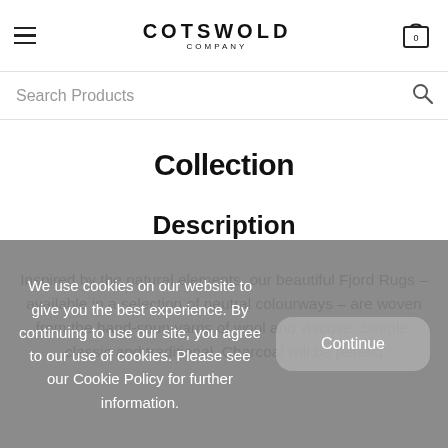COTSWOLD COMPANY
Search Products
Collection
Description
Inspired by the natural elements, our beautiful Fjord Rugs – available in a selection of neutral colourways – are woven from the hand-spun yarns of wool and viscose. Simple, classic and traditional, Charcoal will be perfect
We use cookies on our website to give you the best experience. By continuing to use our site, you agree to our use of cookies. Please see our Cookie Policy for further information.